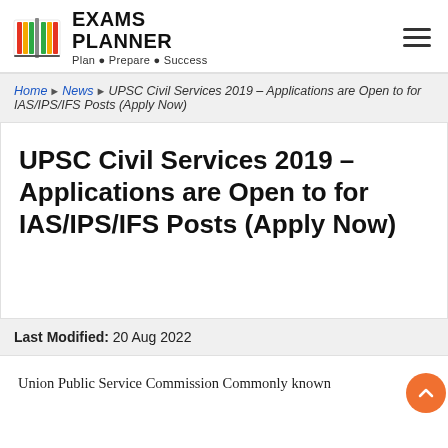EXAMS PLANNER | Plan • Prepare • Success
Home > News > UPSC Civil Services 2019 - Applications are Open to for IAS/IPS/IFS Posts (Apply Now)
UPSC Civil Services 2019 – Applications are Open to for IAS/IPS/IFS Posts (Apply Now)
Last Modified: 20 Aug 2022
Union Public Service Commission Commonly known